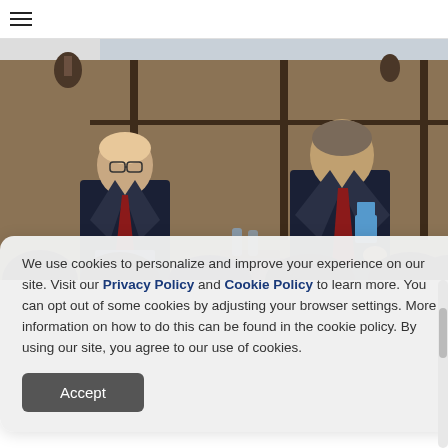☰ (hamburger menu icon)
[Figure (photo): Two men in dark suits with red ties seated on stage at a conference or panel discussion event. The man on the left is holding papers, the man on the right is gesturing while speaking. An audience is visible in the foreground, silhouetted. A projection screen is visible in the background.]
We use cookies to personalize and improve your experience on our site. Visit our Privacy Policy and Cookie Policy to learn more. You can opt out of some cookies by adjusting your browser settings. More information on how to do this can be found in the cookie policy. By using our site, you agree to our use of cookies.
Accept